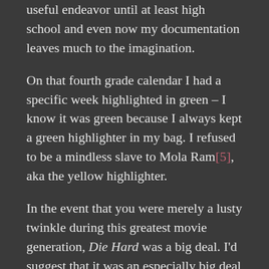useful endeavor until at least high school and even now my documentation leaves much to the imagination.
On that fourth grade calendar I had a specific week highlighted in green – I know it was green because I always kept a green highlighter in my bag. I refused to be a mindless slave to Mola Ram[5], aka the yellow highlighter.
In the event that you were merely a lusty twinkle during this greatest movie generation, Die Hard was a big deal. I'd suggest that it was an especially big deal to prepubescent boys, but that would unfairly discount the prepubescent girls with which I didn't discuss Die Hard in 1989.
At 9, I wasn't yet old enough to partake of John McClane's bloody exploits in the theater. And indeed I tried. There was a Rented that tried...